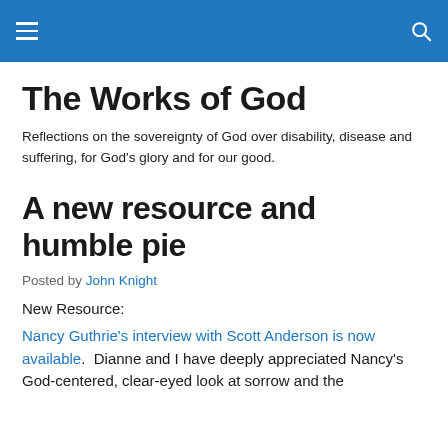The Works of God [navigation header]
The Works of God
Reflections on the sovereignty of God over disability, disease and suffering, for God's glory and for our good.
A new resource and humble pie
Posted by John Knight
New Resource:
Nancy Guthrie's interview with Scott Anderson is now available.  Dianne and I have deeply appreciated Nancy's God-centered, clear-eyed look at sorrow and the